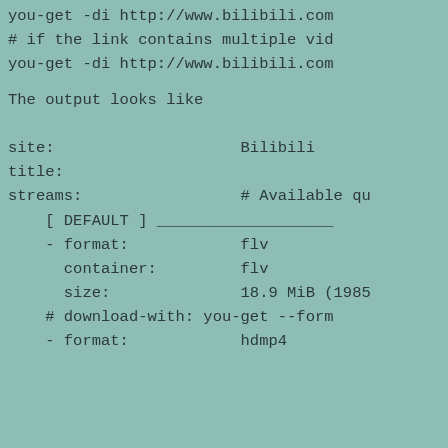you-get -di http://www.bilibili.com
# if the link contains multiple vid
you-get -di http://www.bilibili.com
The output looks like
site:                    Bilibili
title:                   ã  ã  ã  ã  ã  ã  ã  ã  
streams:                 # Available qu
    [ DEFAULT ] ___________________
    - format:            flv
      container:         flv
      size:              18.9 MiB (1985
    # download-with: you-get --form
    - format:            hdmp4